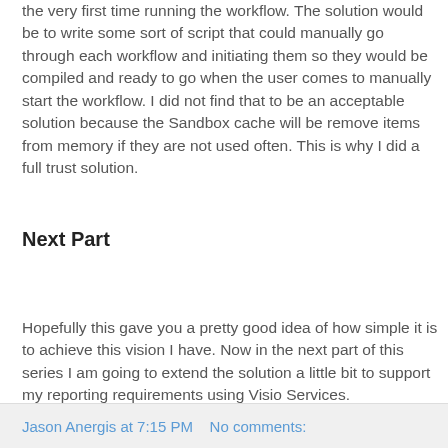the very first time running the workflow. The solution would be to write some sort of script that could manually go through each workflow and initiating them so they would be compiled and ready to go when the user comes to manually start the workflow. I did not find that to be an acceptable solution because the Sandbox cache will be remove items from memory if they are not used often. This is why I did a full trust solution.
Next Part
Hopefully this gave you a pretty good idea of how simple it is to achieve this vision I have. Now in the next part of this series I am going to extend the solution a little bit to support my reporting requirements using Visio Services.
Jason Anergis at 7:15 PM   No comments: